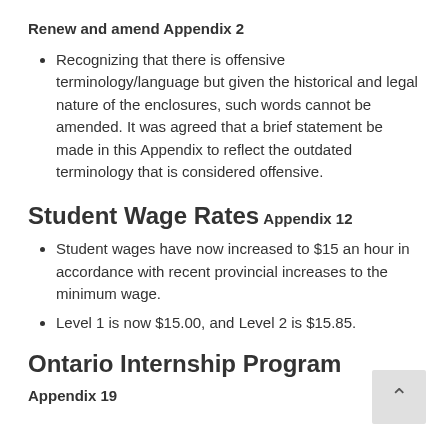Renew and amend Appendix 2
Recognizing that there is offensive terminology/language but given the historical and legal nature of the enclosures, such words cannot be amended. It was agreed that a brief statement be made in this Appendix to reflect the outdated terminology that is considered offensive.
Student Wage Rates
Appendix 12
Student wages have now increased to $15 an hour in accordance with recent provincial increases to the minimum wage.
Level 1 is now $15.00, and Level 2 is $15.85.
Ontario Internship Program
Appendix 19